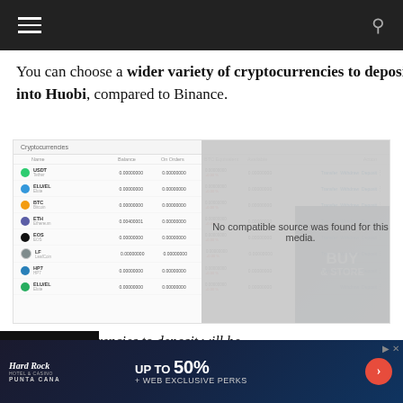Navigation header with hamburger menu and search icon
You can choose a wider variety of cryptocurrencies to deposit into Huobi, compared to Binance.
[Figure (screenshot): Screenshot of Huobi cryptocurrency portfolio page showing multiple crypto assets (USDT, ELU/EL, BTC, ETH, EOS, LF, HP7, ELU/EL) with columns for balance, on orders, BTC equivalent, available, and action buttons (Transfer, Withdraw, Deposit)]
The safest currencies to deposit will be either BTC or ETH.